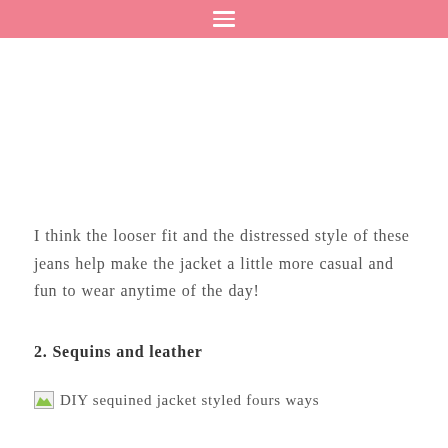≡
I think the looser fit and the distressed style of these jeans help make the jacket a little more casual and fun to wear anytime of the day!
2. Sequins and leather
[Figure (photo): Broken image placeholder with alt text: DIY sequined jacket styled fours ways]